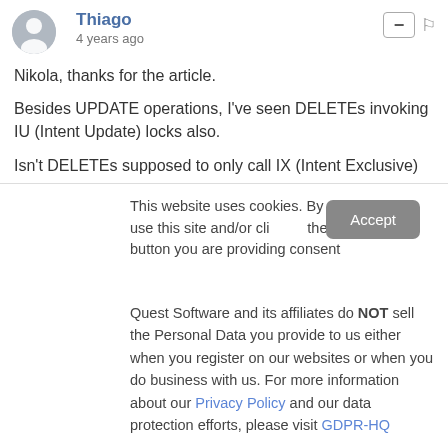Thiago
4 years ago
Nikola, thanks for the article.
Besides UPDATE operations, I've seen DELETEs invoking IU (Intent Update) locks also.
Isn't DELETEs supposed to only call IX (Intent Exclusive)
This website uses cookies. By continuing to use this site and/or click the "Accept" button you are providing consent
Quest Software and its affiliates do NOT sell the Personal Data you provide to us either when you register on our websites or when you do business with us. For more information about our Privacy Policy and our data protection efforts, please visit GDPR-HQ